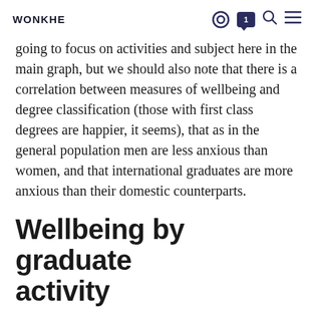WONKHE
going to focus on activities and subject here in the main graph, but we should also note that there is a correlation between measures of wellbeing and degree classification (those with first class degrees are happier, it seems), that as in the general population men are less anxious than women, and that international graduates are more anxious than their domestic counterparts.
Wellbeing by graduate activity
A couple of numbers to bear in mind before we